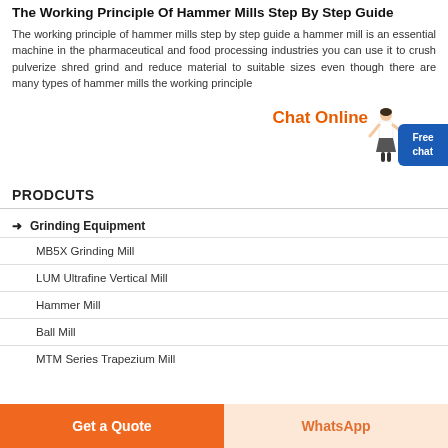The Working Principle Of Hammer Mills Step By Step Guide
The working principle of hammer mills step by step guide a hammer mill is an essential machine in the pharmaceutical and food processing industries you can use it to crush pulverize shred grind and reduce material to suitable sizes even though there are many types of hammer mills the working principle
[Figure (illustration): Chat Online widget with a female figure illustration pointing, and a blue Free chat button on the right side]
PRODCUTS
Grinding Equipment
MB5X Grinding Mill
LUM Ultrafine Vertical Mill
Hammer Mill
Ball Mill
MTM Series Trapezium Mill
Get a Quote
WhatsApp